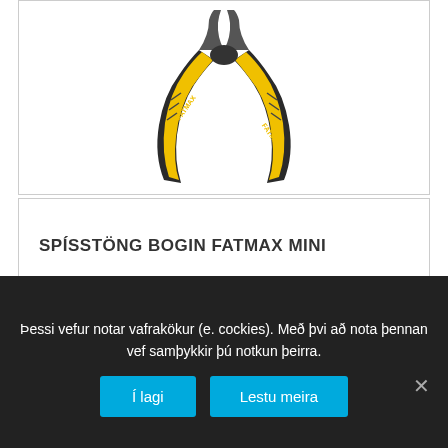[Figure (photo): FATMAX branded pliers with black and yellow handles, open, viewed from above]
SPÍSSTÖNG BOGIN FATMAX MINI
[Figure (photo): Silver metal needle-nose pliers, open, viewed from above, tips pointing up]
Þessi vefur notar vafrakökur (e. cockies). Með þvi að nota þennan vef samþykkir þú notkun þeirra.
Í lagi
Lestu meira